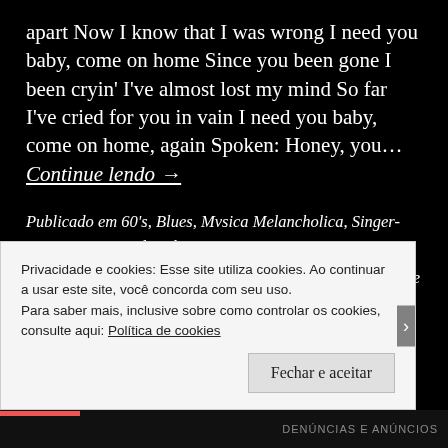apart Now I know that I was wrong I need you baby, come on home Since you been gone I been cryin' I've almost lost my mind So far I've cried for you in vain I need you baby, come on home, again Spoken: Honey, you... Continue lendo →
Publicado em 60's, Blues, Mvsica Melancholica, Singer-Songwriter, Sovndtracks
Com a tag Raining in my heart, Slim Harpo, True Detective
Privacidade e cookies: Esse site utiliza cookies. Ao continuar a usar este site, você concorda com seu uso.
Para saber mais, inclusive sobre como controlar os cookies, consulte aqui: Política de cookies
Fechar e aceitar